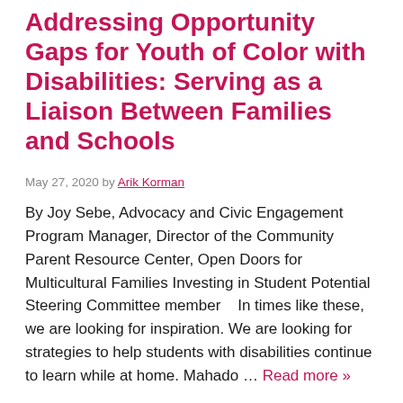Addressing Opportunity Gaps for Youth of Color with Disabilities: Serving as a Liaison Between Families and Schools
May 27, 2020 by Arik Korman
By Joy Sebe, Advocacy and Civic Engagement Program Manager, Director of the Community Parent Resource Center, Open Doors for Multicultural Families Investing in Student Potential Steering Committee member   In times like these, we are looking for inspiration. We are looking for strategies to help students with disabilities continue to learn while at home. Mahado … Read more »
Categories: Blog    Tags: Behavioral Intervention Plans, Continuous Learning Plans, Diverse Families, Diversity, IEP